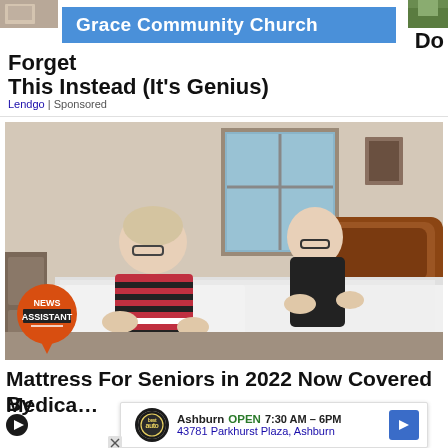[Figure (screenshot): Small cropped image top left corner, brownish tones]
[Figure (screenshot): Small cropped image top right corner, green/nature tones]
[Figure (screenshot): Blue banner overlay reading Grace Community Church]
Forget   Do This Instead (It's Genius)
Lendgo | Sponsored
[Figure (photo): Photo of an elderly couple (woman with blonde hair and glasses in striped sweater, man in black polo) leaning over a bed with white mattress and wooden headboard in a bedroom]
[Figure (logo): NEWS ASSISTANT orange circular badge/logo in bottom left of photo]
Mattress For Seniors in 2022 Now Covered By Medica…
Mattress | Se…
[Figure (infographic): Ashburn popup overlay: auto repair logo, OPEN 7:30AM-6PM, 43781 Parkhurst Plaza, Ashburn, blue navigation arrow]
[Figure (other): Play button triangle icon]
[Figure (other): X close button]